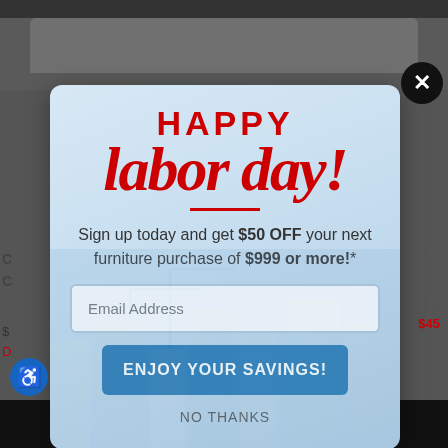[Figure (screenshot): Background furniture/sofa website with dark gray sofa visible at top and sides]
[Figure (infographic): Modal popup overlay with city skyline background]
HAPPY
labor day!
Sign up today and get $50 OFF your next furniture purchase of $999 or more!*
Email Address
ENJOY YOUR SAVINGS!
NO THANKS